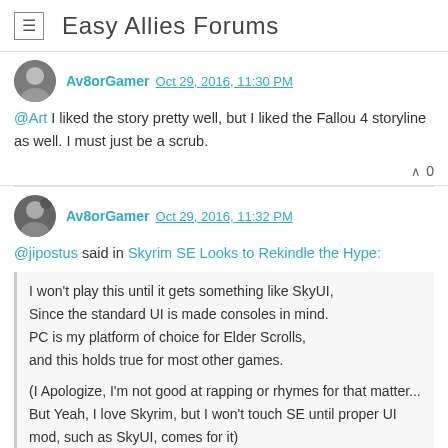Easy Allies Forums
Av8orGamer Oct 29, 2016, 11:30 PM
@Art I liked the story pretty well, but I liked the Fallou 4 storyline as well. I must just be a scrub.
^ 0
Av8orGamer Oct 29, 2016, 11:32 PM
@jipostus said in Skyrim SE Looks to Rekindle the Hype:
I won't play this until it gets something like SkyUI,
Since the standard UI is made consoles in mind.
PC is my platform of choice for Elder Scrolls,
and this holds true for most other games.

(I Apologize, I'm not good at rapping or rhymes for that matter... But Yeah, I love Skyrim, but I won't touch SE until proper UI mod, such as SkyUI, comes for it)
Nexusmods Skyrim Special Edition is already up and kicking. But I'm